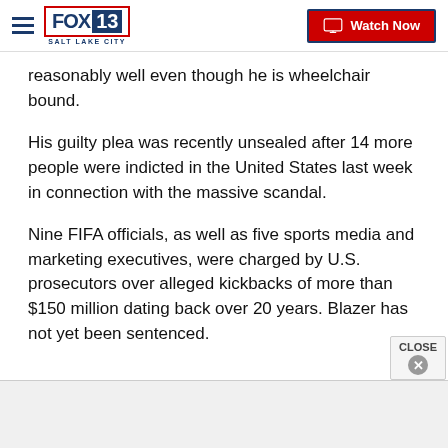FOX 13 SALT LAKE CITY — Watch Now
reasonably well even though he is wheelchair bound.
His guilty plea was recently unsealed after 14 more people were indicted in the United States last week in connection with the massive scandal.
Nine FIFA officials, as well as five sports media and marketing executives, were charged by U.S. prosecutors over alleged kickbacks of more than $150 million dating back over 20 years. Blazer has not yet been sentenced.